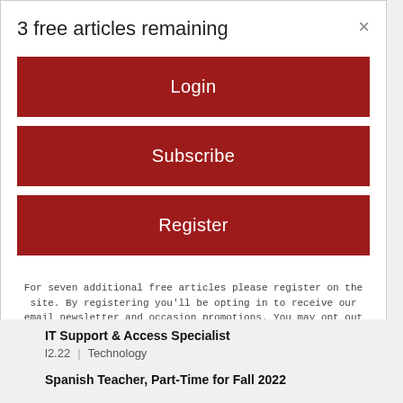3 free articles remaining
[Figure (other): Login button - red rectangle with white text 'Login']
[Figure (other): Subscribe button - red rectangle with white text 'Subscribe']
[Figure (other): Register button - red rectangle with white text 'Register']
For seven additional free articles please register on the site. By registering you'll be opting in to receive our email newsletter and occasion promotions. You may opt out at any time.
IT Support & Access Specialist
l2.22 | Technology
Spanish Teacher, Part-Time for Fall 2022